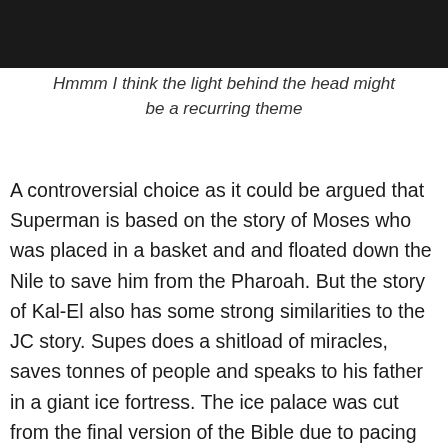[Figure (photo): Dark photograph strip at the top of the page, showing a dimly lit scene with a dark background.]
Hmmm I think the light behind the head might be a recurring theme
A controversial choice as it could be argued that Superman is based on the story of Moses who was placed in a basket and and floated down the Nile to save him from the Pharoah. But the story of Kal-El also has some strong similarities to the JC story. Supes does a shitload of miracles, saves tonnes of people and speaks to his father in a giant ice fortress. The ice palace was cut from the final version of the Bible due to pacing issues. Honest!